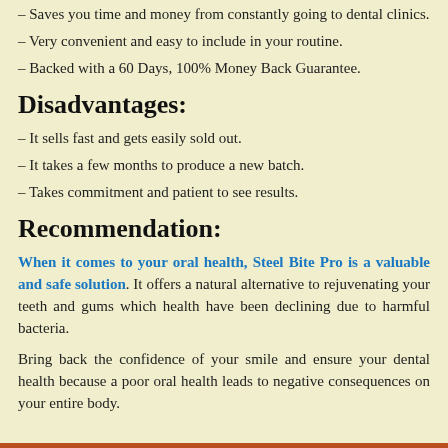– Saves you time and money from constantly going to dental clinics.
– Very convenient and easy to include in your routine.
– Backed with a 60 Days, 100% Money Back Guarantee.
Disadvantages:
– It sells fast and gets easily sold out.
– It takes a few months to produce a new batch.
– Takes commitment and patient to see results.
Recommendation:
When it comes to your oral health, Steel Bite Pro is a valuable and safe solution. It offers a natural alternative to rejuvenating your teeth and gums which health have been declining due to harmful bacteria.
Bring back the confidence of your smile and ensure your dental health because a poor oral health leads to negative consequences on your entire body.
Archives
March 2022
February 2022
January 2022